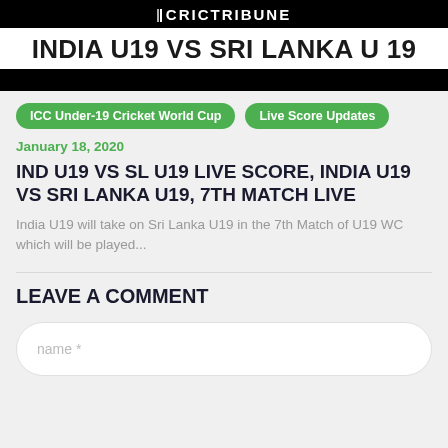CRICTRIBUNE
INDIA U19 VS SRI LANKA U 19
ICC Under-19 Cricket World Cup
Live Score Updates
January 18, 2020
IND U19 VS SL U19 LIVE SCORE, INDIA U19 VS SRI LANKA U19, 7TH MATCH LIVE
India U19 will take on Sri Lanka U19 in the 7th Match of U19 WC which will be played...
LEAVE A COMMENT
name *